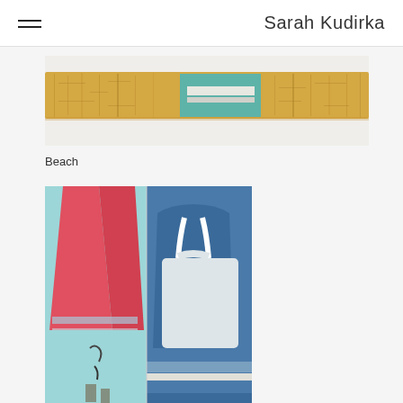Sarah Kudirka
[Figure (photo): Horizontal bar-shaped artwork with golden yellow textured surface and a teal/turquoise rectangular inset in the center, with a white/pale stripe. Appears to be a sculptural mixed-media piece photographed on a white background.]
Beach
[Figure (photo): Painting showing two figures from the waist down: on the left, red/pink wide-leg pants with blue and white horizontal stripes near the hem on a light blue background; on the right, a blue sleeveless top/tank worn by a figure in blue on a darker blue background. Colorful, flat, stylized figurative painting.]
Twinkle